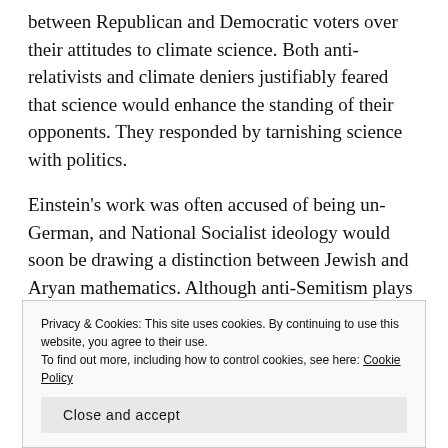between Republican and Democratic voters over their attitudes to climate science. Both anti-relativists and climate deniers justifiably feared that science would enhance the standing of their opponents. They responded by tarnishing science with politics.
Einstein's work was often accused of being un-German, and National Socialist ideology would soon be drawing a distinction between Jewish and Aryan mathematics. Although anti-Semitism plays no part in climate denial, "Jewish mathematics" served the same political
Privacy & Cookies: This site uses cookies. By continuing to use this website, you agree to their use.
To find out more, including how to control cookies, see here: Cookie Policy

Close and accept